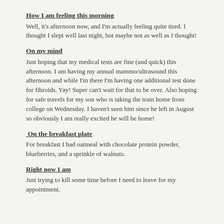How I am feeling this morning
Well, it’s afternoon now, and I’m actually feeling quite tired. I thought I slept well last night, but maybe not as well as I thought!
On my mind
Just hoping that my medical tests are fine (and quick) this afternoon. I am having my annual mammo/ultrasound this afternoon and while I’m there I’m having one additional test done for fibroids. Yay! Super can’t wait for that to be over. Also hoping for safe travels for my son who is taking the train home from college on Wednesday. I haven’t seen him since he left in August so obviously I am really excited he will be home!
On the breakfast plate
For breakfast I had oatmeal with chocolate protein powder, blueberries, and a sprinkle of walnuts.
Right now I am
Just trying to kill some time before I need to leave for my appointment.